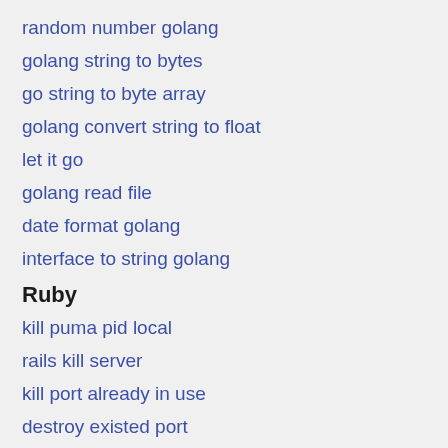random number golang
golang string to bytes
go string to byte array
golang convert string to float
let it go
golang read file
date format golang
interface to string golang
Ruby
kill puma pid local
rails kill server
kill port already in use
destroy existed port